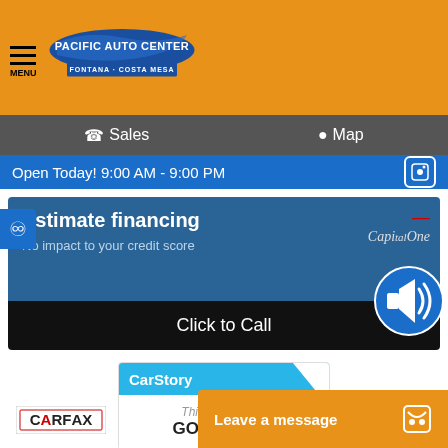[Figure (logo): Pacific Auto Center logo with blue swoosh design on orange background. Subtitle bar: FONTANA - COSTA MESA]
Sales  Map
Open Today! 9:00 AM - 9:00 PM
Estimate financing
No impact to your credit score
Click to Call
[Figure (logo): CarStory logo with blue diagonal. Text: This vehicle is a GOOD DEAL]
Ext. Color: White    Int. Color: Black
Transmission: Automatic    Mileage: 118,395
Stock: 42878    Drivetrain: RWD
Engine: 6 Cylinders
VIN WD3PF1CD4KT003724
[Figure (logo): CARFAX logo]
Leave a message